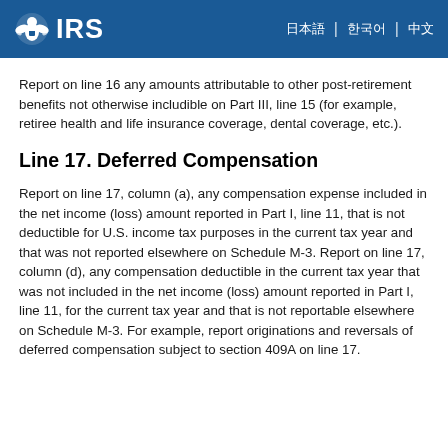IRS
Report on line 16 any amounts attributable to other post-retirement benefits not otherwise includible on Part III, line 15 (for example, retiree health and life insurance coverage, dental coverage, etc.).
Line 17. Deferred Compensation
Report on line 17, column (a), any compensation expense included in the net income (loss) amount reported in Part I, line 11, that is not deductible for U.S. income tax purposes in the current tax year and that was not reported elsewhere on Schedule M-3. Report on line 17, column (d), any compensation deductible in the current tax year that was not included in the net income (loss) amount reported in Part I, line 11, for the current tax year and that is not reportable elsewhere on Schedule M-3. For example, report originations and reversals of deferred compensation subject to section 409A on line 17.